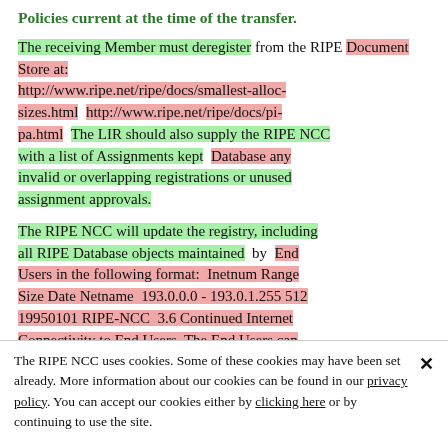Policies current at the time of the transfer.
The receiving Member must deregister from the RIPE Document Store at: http://www.ripe.net/ripe/docs/smallest-alloc-sizes.html http://www.ripe.net/ripe/docs/pi-pa.html The LIR should also supply the RIPE NCC with a list of Assignments kept Database any invalid or overlapping registrations or unused assignment approvals.
The RIPE NCC will update the registry, including all RIPE Database objects maintained by End Users in the following format: Inetnum Range Size Date Netname 193.0.0.0 - 193.0.1.255 512 19950101 RIPE-NCC 3.6 Continued Internet Connectivity to End Users The End Users can
The RIPE NCC uses cookies. Some of these cookies may have been set already. More information about our cookies can be found in our privacy policy. You can accept our cookies either by clicking here or by continuing to use the site.